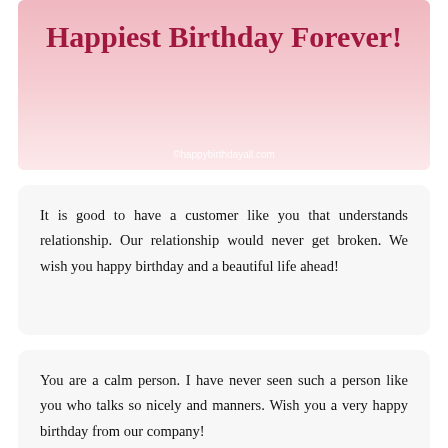[Figure (illustration): Pink gradient banner with bold dark red/crimson script-style heading 'Happiest Birthday Forever!' and watermark text '©happybirthdayall.com' at the bottom.]
It is good to have a customer like you that understands relationship. Our relationship would never get broken. We wish you happy birthday and a beautiful life ahead!
You are a calm person. I have never seen such a person like you who talks so nicely and manners. Wish you a very happy birthday from our company!